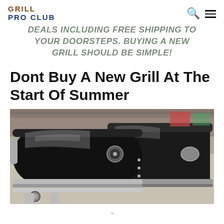GRILL PRO CLUB
DEALS INCLUDING FREE SHIPPING TO YOUR DOORSTEPS. BUYING A NEW GRILL SHOULD BE SIMPLE!
Dont Buy A New Grill At The Start Of Summer
[Figure (photo): Close-up photo of shiny black and silver barbecue grills displayed in a store, showing the lids and handles with chrome trim.]